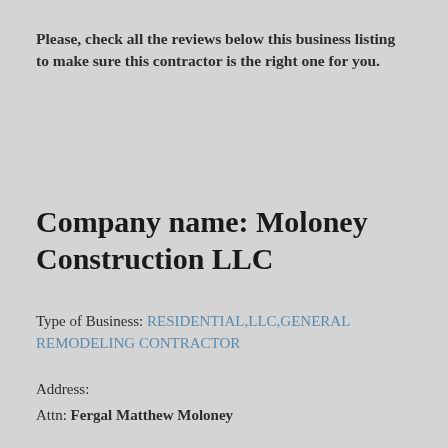Please, check all the reviews below this business listing to make sure this contractor is the right one for you.
Company name: Moloney Construction LLC
Type of Business: RESIDENTIAL,LLC,GENERAL REMODELING CONTRACTOR
Address:
Attn: Fergal Matthew Moloney